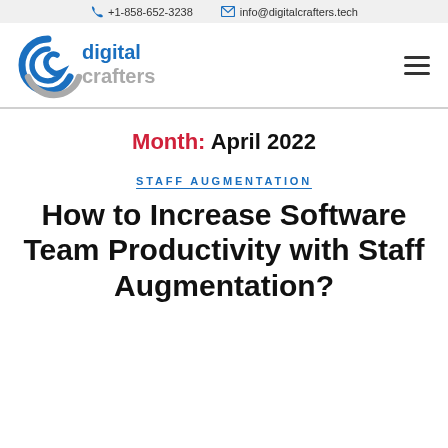+1-858-652-3238  info@digitalcrafters.tech
[Figure (logo): Digital Crafters logo with blue swirl icon and gray/blue text]
STAFF AUGMENTATION
Month: April 2022
How to Increase Software Team Productivity with Staff Augmentation?